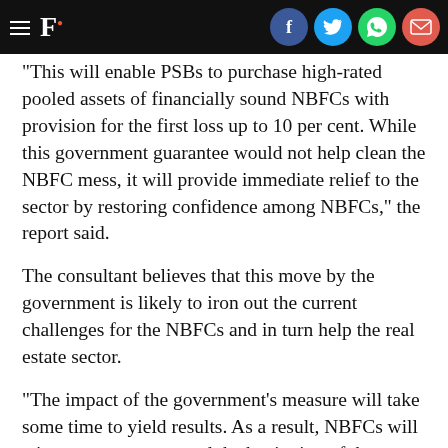F. [with social share icons: Facebook, Twitter, WhatsApp, Email]
"This will enable PSBs to purchase high-rated pooled assets of financially sound NBFCs with provision for the first loss up to 10 per cent. While this government guarantee would not help clean the NBFC mess, it will provide immediate relief to the sector by restoring confidence among NBFCs," the report said.
The consultant believes that this move by the government is likely to iron out the current challenges for the NBFCs and in turn help the real estate sector.
"The impact of the government's measure will take some time to yield results. As a result, NBFCs will witness recovery toward the beginning of the year 2020," Nair said.
Updated Date:   July 25, 2019 13:30:18 IST
TAGS: Bank Finance  Hfc  Il&amp;fs  Il&amp;fs Default